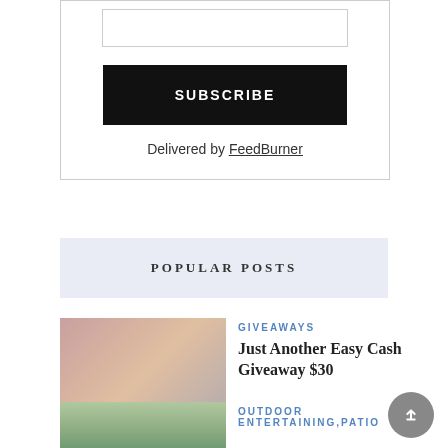[Figure (screenshot): Email subscribe input field placeholder]
SUBSCRIBE
Delivered by FeedBurner
POPULAR POSTS
GIVEAWAYS
Just Another Easy Cash Giveaway $30
[Figure (photo): Photo of hands holding cash/money]
OUTDOOR ENTERTAINING,PATIO
[Figure (photo): Outdoor entertaining patio photo]
A Beginner's Guide to...